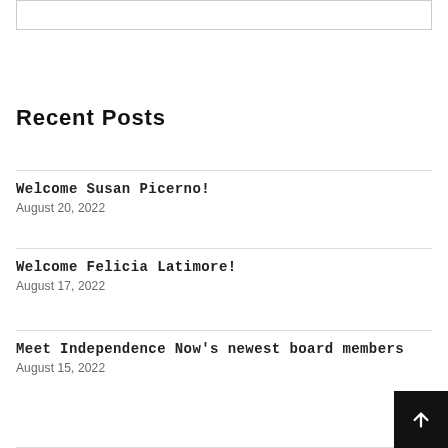Recent Posts
Welcome Susan Picerno!
August 20, 2022
Welcome Felicia Latimore!
August 17, 2022
Meet Independence Now's newest board members
August 15, 2022